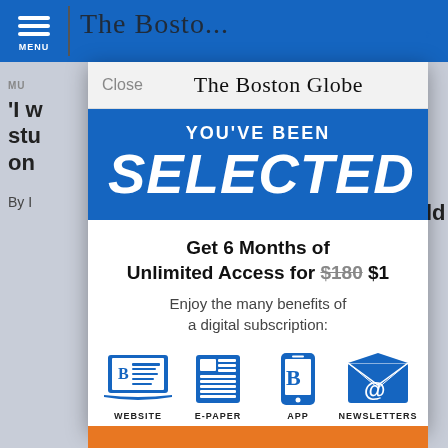[Figure (screenshot): Screenshot of The Boston Globe mobile website with a subscription modal overlay. Background shows partially visible newspaper page with blue header bar, hamburger menu, and partial headline. Modal shows 'YOU'VE BEEN SELECTED' promotion offering 6 months unlimited access for $1 (regularly $180), with icons for WEBSITE, E-PAPER, APP, and NEWSLETTERS.]
The Boston Globe
YOU'VE BEEN
SELECTED
Get 6 Months of Unlimited Access for $180 $1
Enjoy the many benefits of a digital subscription:
WEBSITE
E-PAPER
APP
NEWSLETTERS